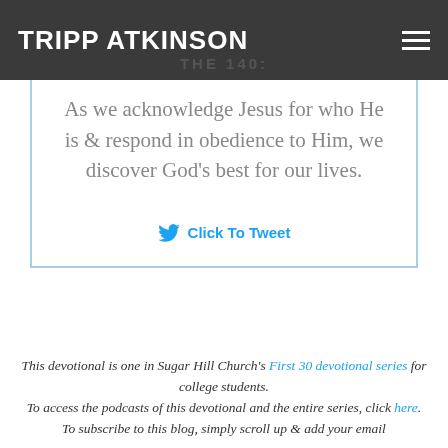TRIPP ATKINSON
THE 140:
As we acknowledge Jesus for who He is & respond in obedience to Him, we discover God’s best for our lives.
Click To Tweet
This devotional is one in Sugar Hill Church’s First 30 devotional series for college students.
To access the podcasts of this devotional and the entire series, click here.
To subscribe to this blog, simply scroll up & add your email